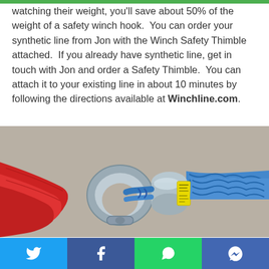watching their weight, you'll save about 50% of the weight of a safety winch hook.  You can order your synthetic line from Jon with the Winch Safety Thimble attached.  If you already have synthetic line, get in touch with Jon and order a Safety Thimble.  You can attach it to your existing line in about 10 minutes by following the directions available at Winchline.com.
[Figure (photo): Close-up photo of a winch safety thimble (silver/aluminum) attached to a blue synthetic rope, with a red strap looped through a shackle. The thimble has a yellow label band around it.]
Social media share buttons: Twitter, Facebook, WhatsApp, Messenger